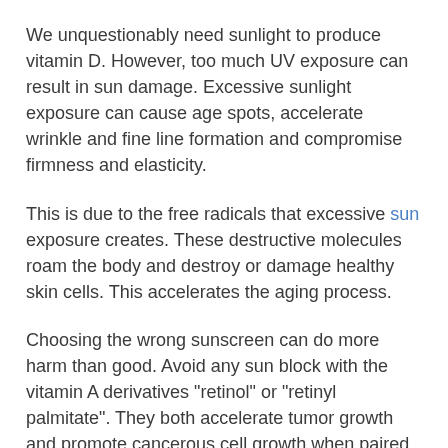We unquestionably need sunlight to produce vitamin D. However, too much UV exposure can result in sun damage. Excessive sunlight exposure can cause age spots, accelerate wrinkle and fine line formation and compromise firmness and elasticity.
This is due to the free radicals that excessive sun exposure creates. These destructive molecules roam the body and destroy or damage healthy skin cells. This accelerates the aging process.
Choosing the wrong sunscreen can do more harm than good. Avoid any sun block with the vitamin A derivatives "retinol" or "retinyl palmitate". They both accelerate tumor growth and promote cancerous cell growth when paired with UV exposure.